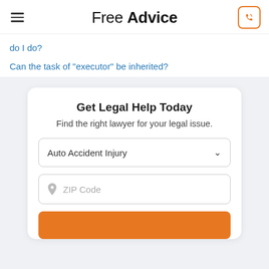Free Advice
do I do?
Can the task of "executor" be inherited?
Get Legal Help Today
Find the right lawyer for your legal issue.
Auto Accident Injury
ZIP Code